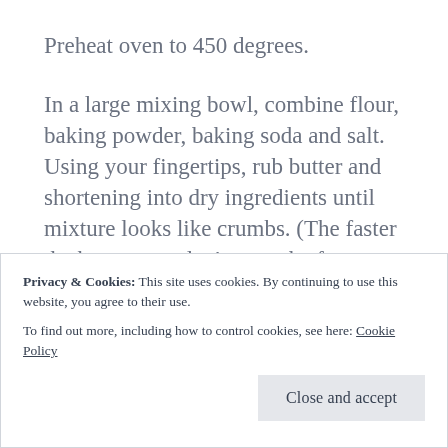Preheat oven to 450 degrees.
In a large mixing bowl, combine flour, baking powder, baking soda and salt. Using your fingertips, rub butter and shortening into dry ingredients until mixture looks like crumbs. (The faster the better, you don’t want the fats to melt.) Make a well in the center and pour in the
Privacy & Cookies: This site uses cookies. By continuing to use this website, you agree to their use.
To find out more, including how to control cookies, see here: Cookie Policy
Close and accept
dust top with flour and gently fold